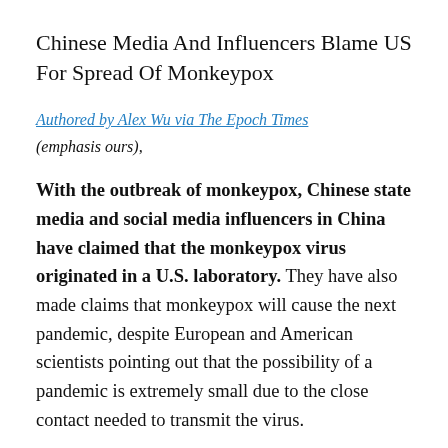Chinese Media And Influencers Blame US For Spread Of Monkeypox
Authored by Alex Wu via The Epoch Times (emphasis ours),
With the outbreak of monkeypox, Chinese state media and social media influencers in China have claimed that the monkeypox virus originated in a U.S. laboratory. They have also made claims that monkeypox will cause the next pandemic, despite European and American scientists pointing out that the possibility of a pandemic is extremely small due to the close contact needed to transmit the virus.